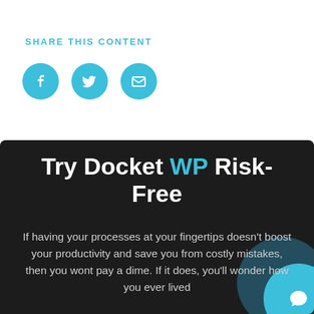SHARE THIS CONTENT
[Figure (infographic): Three social sharing icon buttons: Facebook, Twitter, and Email — all teal/cyan colored circles with white icons]
Try Docket WP Risk-Free
If having your processes at your fingertips doesn't boost your productivity and save you from costly mistakes, then you wont pay a dime. If it does, you'll wonder how you ever lived